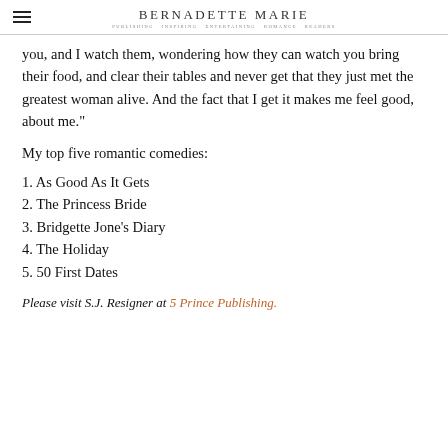BERNADETTE MARIE
you, and I watch them, wondering how they can watch you bring their food, and clear their tables and never get that they just met the greatest woman alive. And the fact that I get it makes me feel good, about me."
My top five romantic comedies:
1. As Good As It Gets
2. The Princess Bride
3. Bridgette Jone's Diary
4. The Holiday
5. 50 First Dates
Please visit S.J. Resigner at 5 Prince Publishing.